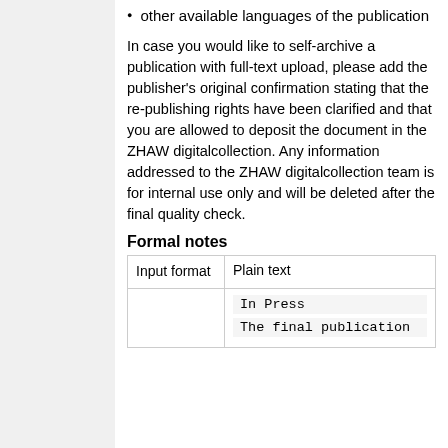other available languages of the publication
In case you would like to self-archive a publication with full-text upload, please add the publisher's original confirmation stating that the re-publishing rights have been clarified and that you are allowed to deposit the document in the ZHAW digitalcollection. Any information addressed to the ZHAW digitalcollection team is for internal use only and will be deleted after the final quality check.
Formal notes
| Input format |  |
| --- | --- |
| Input format | Plain text |
|  | In Press
The final publication |